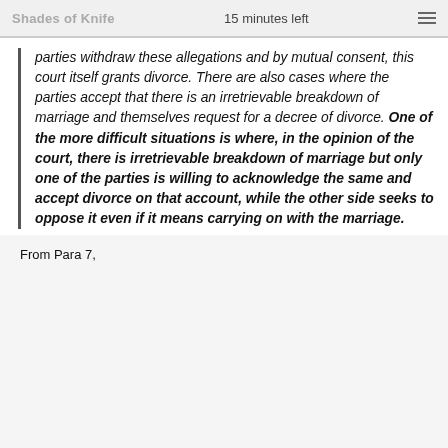Shades of Knife   15 minutes left
parties withdraw these allegations and by mutual consent, this court itself grants divorce. There are also cases where the parties accept that there is an irretrievable breakdown of marriage and themselves request for a decree of divorce. One of the more difficult situations is where, in the opinion of the court, there is irretrievable breakdown of marriage but only one of the parties is willing to acknowledge the same and accept divorce on that account, while the other side seeks to oppose it even if it means carrying on with the marriage.
From Para 7,